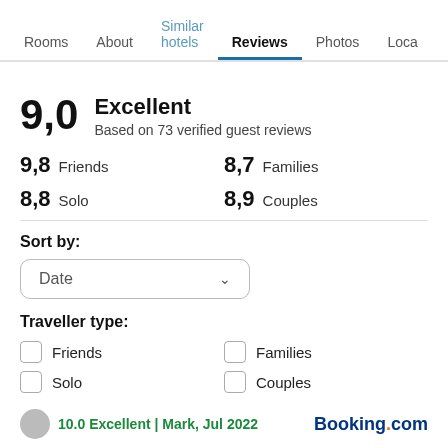Rooms | About | Similar hotels | Reviews | Photos | Loca
9,0
Excellent
Based on 73 verified guest reviews
9,8 Friends   8,7 Families
8,8 Solo   8,9 Couples
Sort by:
Date
Traveller type:
Friends
Families
Solo
Couples
10.0 Excellent | Mark, Jul 2022
Booking.com